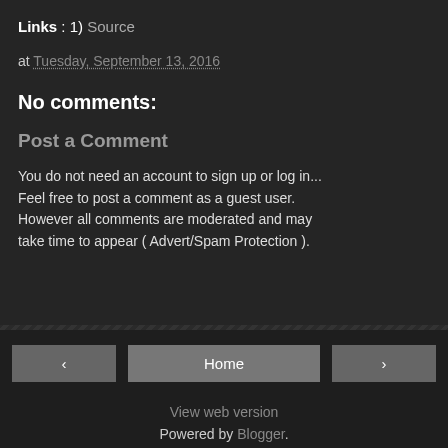Links : 1) Source
at Tuesday, September 13, 2016
No comments:
Post a Comment
You do not need an account to sign up or log in... Feel free to post a comment as a guest user. However all comments are moderated and may take time to appear ( Advert/Spam Protection ).
‹
Home
›
View web version
Powered by Blogger.